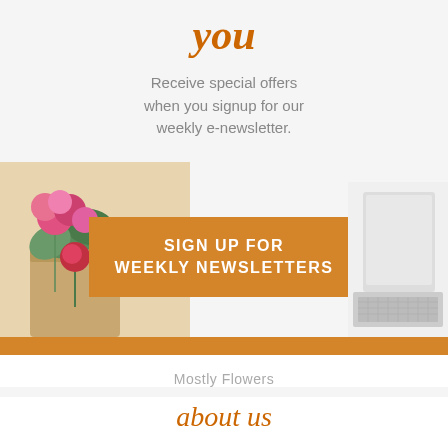you
Receive special offers when you signup for our weekly e-newsletter.
[Figure (illustration): Decorative banner area with flowers on the left and a laptop on the right, with an orange call-to-action button in the center reading SIGN UP FOR WEEKLY NEWSLETTERS]
Mostly Flowers
about us
We are committed to offering only the finest floral arrangements and gifts, backed by service that is friendly and prompt. Because all of our custom...